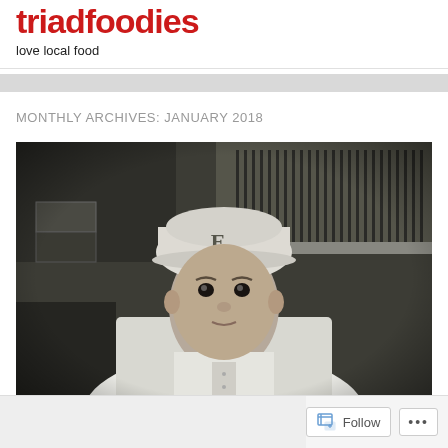triadfoodies
love local food
MONTHLY ARCHIVES: JANUARY 2018
[Figure (photo): Black and white photograph of a male chef wearing a white chef coat and a baseball cap with the letter E, looking at the camera, in a professional kitchen with stainless steel hood vents and equipment in the background.]
Follow ...